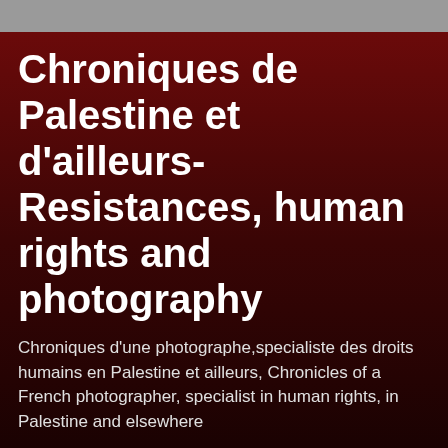Chroniques de Palestine et d'ailleurs- Resistances, human rights and photography
Chroniques d'une photographe,specialiste des droits humains en Palestine et ailleurs, Chronicles of a French photographer, specialist in human rights, in Palestine and elsewhere
Sunday, May 27, 2007
Artas story- video
http://corky.net/~eran/yossi/Ertas%20200507%20Forweb.WMV
if it doesn't stream propertly, you can download to your computer by: right click>save target as...